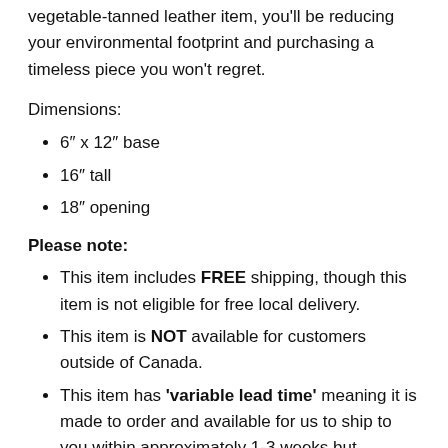vegetable-tanned leather item, you'll be reducing your environmental footprint and purchasing a timeless piece you won't regret.
Dimensions:
6″ x 12″ base
16″ tall
18″ opening
Please note:
This item includes FREE shipping, though this item is not eligible for free local delivery.
This item is NOT available for customers outside of Canada.
This item has 'variable lead time' meaning it is made to order and available for us to ship to you within approximately 1-3 weeks but availability can